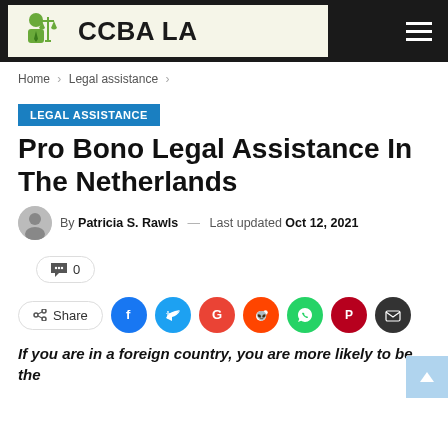CCBA LA
Home > Legal assistance >
LEGAL ASSISTANCE
Pro Bono Legal Assistance In The Netherlands
By Patricia S. Rawls — Last updated Oct 12, 2021
0
Share
If you are in a foreign country, you are more likely to be the